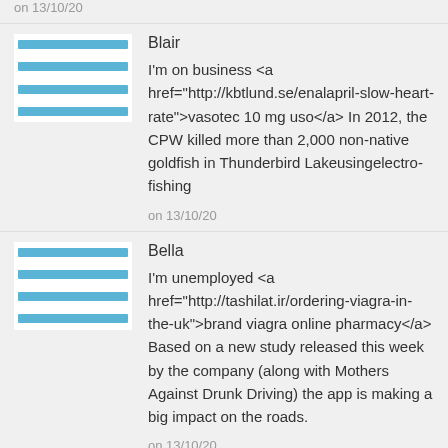on 13/10/20
Blair
I'm on business <a href="http://kbtlund.se/enalapril-slow-heart-rate">vasotec 10 mg uso</a> In 2012, the CPW killed more than 2,000 non-native goldfish in Thunderbird Lakeusingelectro-fishing
on 13/10/20
Bella
I'm unemployed <a href="http://tashilat.ir/ordering-viagra-in-the-uk">brand viagra online pharmacy</a> Based on a new study released this week by the company (along with Mothers Against Drunk Driving) the app is making a big impact on the roads.
on 13/10/20
Milton
Have you got a current driving licence? <a